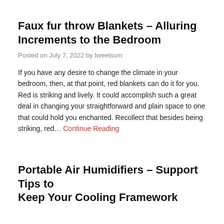Faux fur throw Blankets – Alluring Increments to the Bedroom
Posted on July 7, 2022 by tweetsum
If you have any desire to change the climate in your bedroom, then, at that point, red blankets can do it for you. Red is striking and lively. It could accomplish such a great deal in changing your straightforward and plain space to one that could hold you enchanted. Recollect that besides being striking, red… Continue Reading
Portable Air Humidifiers – Support Tips to Keep Your Cooling Framework